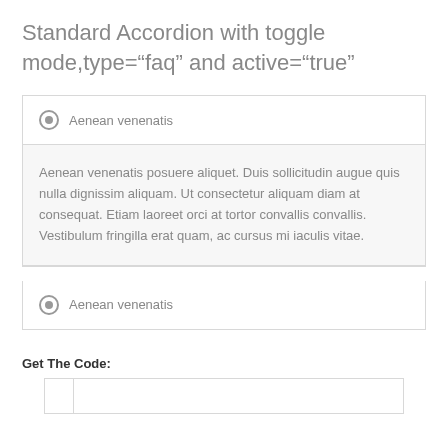Standard Accordion with toggle mode,type="faq" and active="true"
Aenean venenatis
Aenean venenatis posuere aliquet. Duis sollicitudin augue quis nulla dignissim aliquam. Ut consectetur aliquam diam at consequat. Etiam laoreet orci at tortor convallis convallis. Vestibulum fringilla erat quam, ac cursus mi iaculis vitae.
Aenean venenatis
Get The Code: